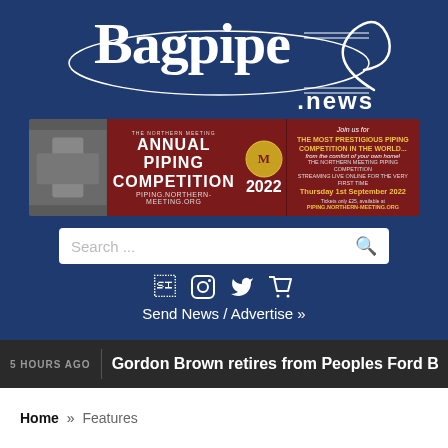[Figure (logo): Bagpipe.news logo in white text on dark blue background with decorative oval borders and swirl]
[Figure (photo): Advertisement banner for The Northern Meeting Annual Piping Competition 2022, showing a bagpiper and event details about streaming online Thursday 1st September 2022]
[Figure (screenshot): Search bar with placeholder text 'Search ...' and magnifying glass icon]
[Figure (infographic): Social media icons: Facebook, Instagram, Twitter, and Shopping Cart]
Send News / Advertise »
5 HOURS AGO   Gordon Brown retires from Peoples Ford Boghall &
Home » Features